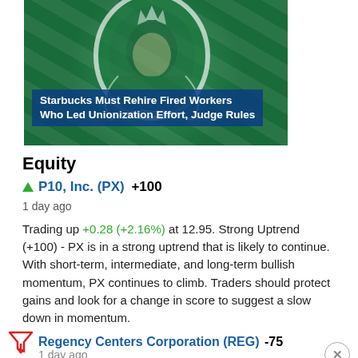[Figure (photo): Starbucks logo background with news headline overlay: 'Starbucks Must Rehire Fired Workers Who Led Unionization Effort, Judge Rules']
Equity
▲ P10, Inc. (PX) +100
1 day ago
Trading up +0.28 (+2.16%) at 12.95. Strong Uptrend (+100) - PX is in a strong uptrend that is likely to continue. With short-term, intermediate, and long-term bullish momentum, PX continues to climb. Traders should protect gains and look for a change in score to suggest a slow down in momentum.
Regency Centers Corporation (REG) -75
1 day ago
Trading down -0.965 (+1.54%) at 62.855. Bear Market Rally (-75) - REG is showing some rallying power, but still remains in the confines of a long-term downtrend. Keep an eye on REG may be in the beginning of a reversal.